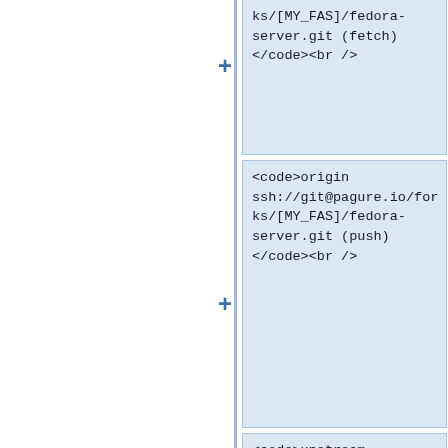ks/[MY_FAS]/fedora-server.git (fetch) </code><br />
<code>origin ssh://git@pagure.io/forks/[MY_FAS]/fedora-server.git (push) </code><br />
<code>upstream https://git@pagure.io/fedora-server.git (fetch)</code><br />
<code>upstream https://git@pagure.io/fedora-server.git (push) </code></p>
<p>In your workflow you will update your local version to the latest versions of the